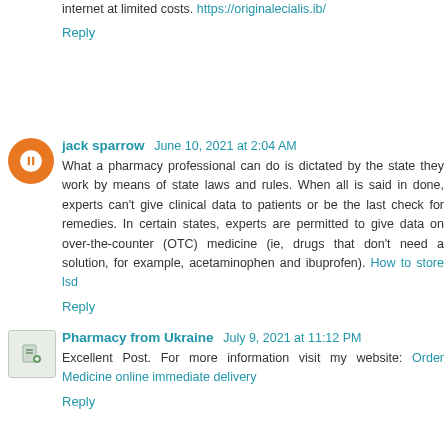internet at limited costs. https://originalecialis.ib/
Reply
jack sparrow  June 10, 2021 at 2:04 AM
What a pharmacy professional can do is dictated by the state they work by means of state laws and rules. When all is said in done, experts can't give clinical data to patients or be the last check for remedies. In certain states, experts are permitted to give data on over-the-counter (OTC) medicine (ie, drugs that don't need a solution, for example, acetaminophen and ibuprofen). How to store lsd
Reply
Pharmacy from Ukraine  July 9, 2021 at 11:12 PM
Excellent Post. For more information visit my website: Order Medicine online immediate delivery
Reply